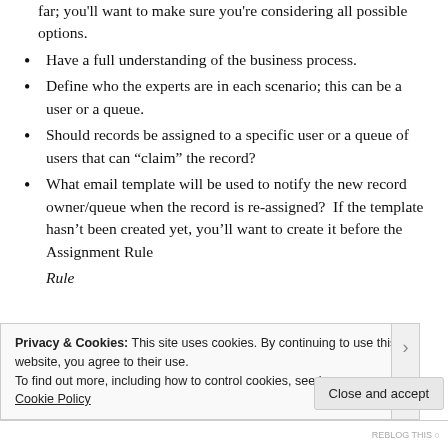far; you'll want to make sure you're considering all possible options.
Have a full understanding of the business process.
Define who the experts are in each scenario; this can be a user or a queue.
Should records be assigned to a specific user or a queue of users that can “claim” the record?
What email template will be used to notify the new record owner/queue when the record is re-assigned?  If the template hasn’t been created yet, you’ll want to create it before the Assignment Rule
Privacy & Cookies: This site uses cookies. By continuing to use this website, you agree to their use.
To find out more, including how to control cookies, see here:
Cookie Policy
Close and accept